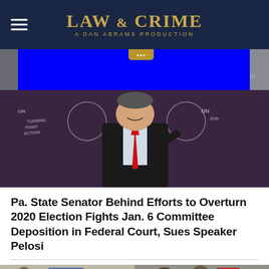LAW & CRIME — A DAN ABRAMS PRODUCTION
[Figure (photo): Screenshot of Law & Crime news website. Top shows a man in a dark suit with a red tie smiling in front of Turning Point Action banners. Blue advertisement bar overlays the top portion. Below article title is a cropped protest scene with people holding signs.]
Pa. State Senator Behind Efforts to Overturn 2020 Election Fights Jan. 6 Committee Deposition in Federal Court, Sues Speaker Pelosi
[Figure (photo): Cropped protest scene with people holding signs including one reading '2020' partially visible.]